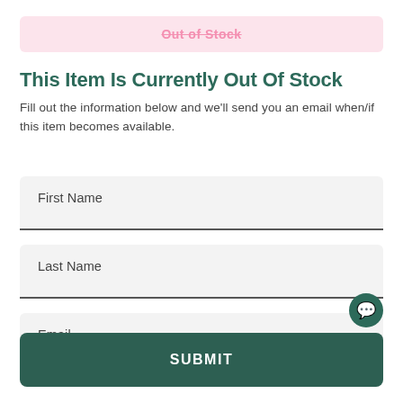Out of Stock
This Item Is Currently Out Of Stock
Fill out the information below and we'll send you an email when/if this item becomes available.
First Name
Last Name
Email
SUBMIT